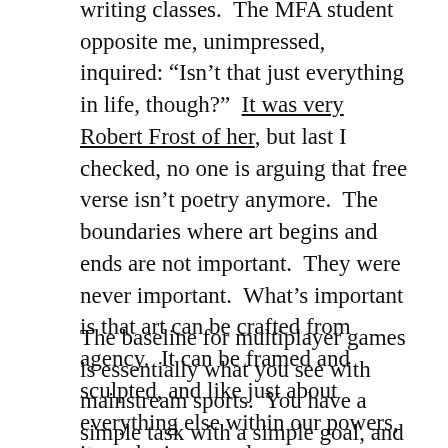writing classes.  The MFA student opposite me, unimpressed, inquired: “Isn’t that just everything in life, though?”  It was very Robert Frost of her, but last I checked, no one is arguing that free verse isn’t poetry anymore.  The boundaries where art begins and ends are not important.  They were never important.  What’s important is that art can be crafted from agency.  It can be framed and sculpted, and like just about everything else within our powers, it can be improved upon.
The baseline for multiplayer games is essentially what you see with mainstream sports.  You have a simple task with a simple goal, and the game is doing it better than the other guys until one of you wins.  Maneuver the sportsball through the hoopgoal.  Go fast.  Hit hard and shoot accurately.  That these imperatives apply equally well to football/soccer, Street Fighter, Mario Kart, and Halo